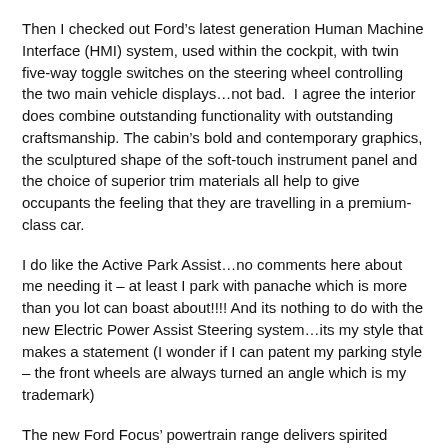Then I checked out Ford's latest generation Human Machine Interface (HMI) system, used within the cockpit, with twin five-way toggle switches on the steering wheel controlling the two main vehicle displays…not bad.  I agree the interior does combine outstanding functionality with outstanding craftsmanship. The cabin's bold and contemporary graphics, the sculptured shape of the soft-touch instrument panel and the choice of superior trim materials all help to give occupants the feeling that they are travelling in a premium-class car.
I do like the Active Park Assist…no comments here about me needing it – at least I park with panache which is more than you lot can boast about!!!! And its nothing to do with the new Electric Power Assist Steering system…its my style that makes a statement (I wonder if I can patent my parking style – the front wheels are always turned an angle which is my trademark)
The new Ford Focus' powertrain range delivers spirited performance and offers outstanding fuel economy and CO2 emissions… I like that. Plus the fuel economy is enhanced by the availability of a new six-speed dual dry-clutch PowerShift automatic transmission, providing the